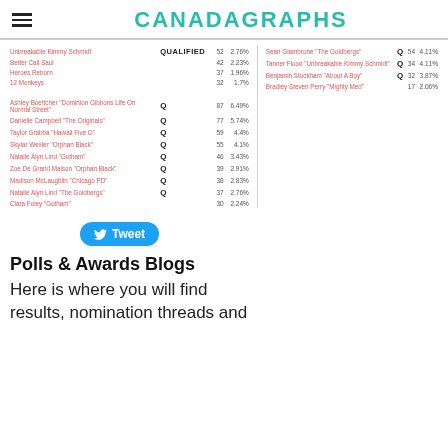CANADAGRAPHS
| Name | Q | Votes | Pct |
| --- | --- | --- | --- |
| Unbreakable Kimmy Schmidt | QUALIFIED | 52 | 2.76% |
| Better Call Saul |  | 42 | 2.23% |
| Heroes Reborn |  | 37 | 1.96% |
| 12 Monkeys |  | 32 | 1.7% |
| Ashley Boettcher "Dominion Gibbons Life On Normal Street" | Q | 87 | 6.49% |
| Danielle Campbell "The Originals" | Q | 77 | 5.74% |
| Taylor Grabba "Hawaii Five O" | Q | 59 | 4.4% |
| Skyler Wexler "Orphan Black" | Q | 55 | 4.1% |
| Natalie Alyn Lind "Gotham" | Q | 46 | 3.43% |
| Zoe De Grand Maison "Orphan Black" | Q | 39 | 2.91% |
| Madison McLaughlin "Chicago PD" | Q | 38 | 2.83% |
| Natalie Alyn Lind "The Goldbergs" | Q | 37 | 2.76% |
| Clara Foley "Gotham" |  | 30 | 2.24% |
| Name | Q | Votes | Pct |
| --- | --- | --- | --- |
| Sean Giambrone "The Goldbergs" | Q | 54 | 4.11% |
| Tanner Flood "Unbreakable Kimmy Schmidt" | Q | 34 | 4.11% |
| Benjamin Stockham "About A Boy" | Q | 32 | 3.87% |
| Bradley Steven Perry "Mighty Med" |  | 17 | 2.06% |
[Figure (other): Tweet button]
Polls & Awards Blogs
Here is where you will find results, nomination threads and